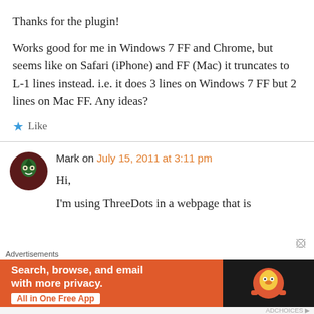Thanks for the plugin!
Works good for me in Windows 7 FF and Chrome, but seems like on Safari (iPhone) and FF (Mac) it truncates to L-1 lines instead. i.e. it does 3 lines on Windows 7 FF but 2 lines on Mac FF. Any ideas?
★ Like
Mark on July 15, 2011 at 3:11 pm
Hi,
I'm using ThreeDots in a webpage that is
Advertisements
[Figure (screenshot): DuckDuckGo advertisement banner: orange background with text 'Search, browse, and email with more privacy. All in One Free App' on left, DuckDuckGo duck logo on dark right panel.]